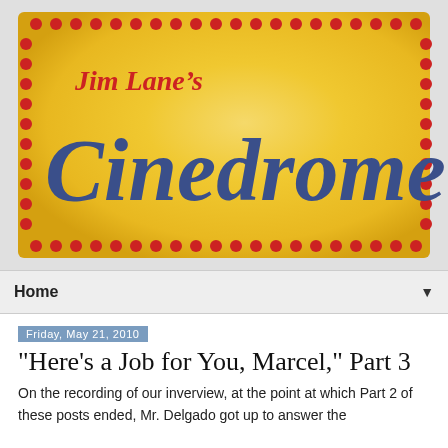[Figure (logo): Jim Lane's Cinedrome blog logo — yellow gradient background with red dotted border, 'Jim Lane's' in red cursive script, 'Cinedrome' in large dark blue cursive font]
Home ▼
Friday, May 21, 2010
"Here's a Job for You, Marcel," Part 3
On the recording of our inverview, at the point at which Part 2 of these posts ended, Mr. Delgado got up to answer the